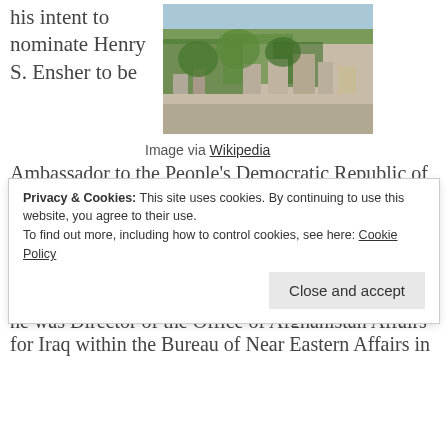his intent to nominate Henry S. Ensher to be
[Figure (photo): Aerial or hillside view of a densely built city with trees and vegetation, likely Algeria]
Image via Wikipedia
Ambassador to the People's Democratic Republic of Algeria. The WH released the following brief bio:
Henry S. Ensher most recently served as the United States Senior Civilian Representative in southern Afghanistan.  Immediately prior to that assignment, he was Director of the Office of Afghanistan Affairs in the
Privacy & Cookies: This site uses cookies. By continuing to use this website, you agree to their use. To find out more, including how to control cookies, see here: Cookie Policy
for Iraq within the Bureau of Near Eastern Affairs in